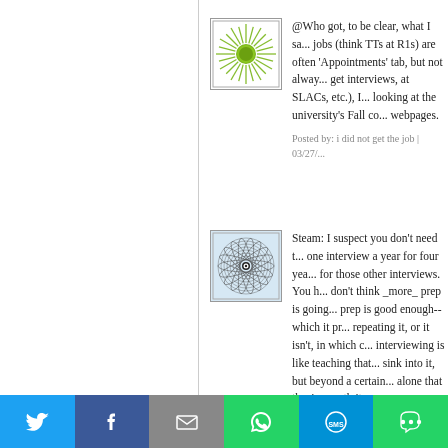[Figure (illustration): Green sunburst avatar icon with green circular center on white background]
@Who got, to be clear, what I sa... jobs (think TTs at R1s) are often 'Appointments' tab, but not alway... get interviews, at SLACs, etc.), I... looking at the university's Fall co... webpages.
Posted by: i did not get the job | 03/27/...
[Figure (illustration): Geometric spirograph pattern avatar icon — concentric circular line pattern with small circular center on light blue background]
Steam: I suspect you don't need t... one interview a year for four yea... for those other interviews. You h... don't think _more_ prep is going... prep is good enough--which it pr... repeating it, or it isn't, in which c... interviewing is like teaching that... sink into it, but beyond a certain... alone that they're worth it.

Spend the time on yourself and y... burned out. Do have your job tall... thinking about how you want to a...